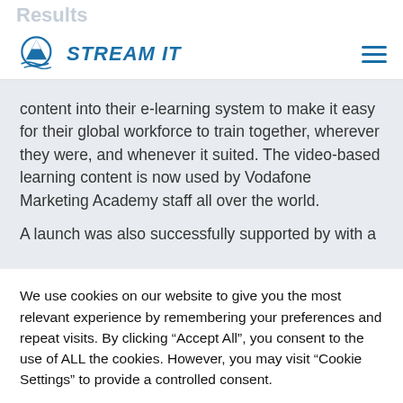Results
STREAM IT (logo/navigation)
content into their e-learning system to make it easy for their global workforce to train together, wherever they were, and whenever it suited. The video-based learning content is now used by Vodafone Marketing Academy staff all over the world.
A launch was also successfully supported by with a
We use cookies on our website to give you the most relevant experience by remembering your preferences and repeat visits. By clicking “Accept All”, you consent to the use of ALL the cookies. However, you may visit “Cookie Settings” to provide a controlled consent.